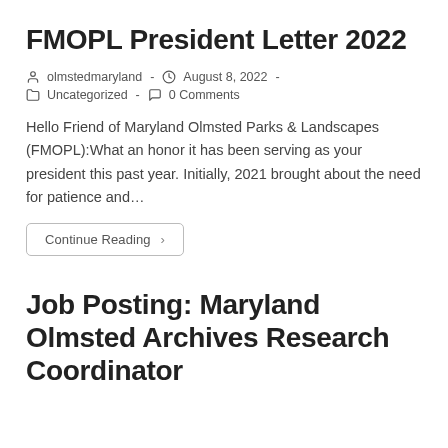FMOPL President Letter 2022
olmstedmaryland  -  August 8, 2022  -  Uncategorized  -  0 Comments
Hello Friend of Maryland Olmsted Parks & Landscapes (FMOPL):What an honor it has been serving as your president this past year. Initially, 2021 brought about the need for patience and…
Continue Reading ›
Job Posting: Maryland Olmsted Archives Research Coordinator